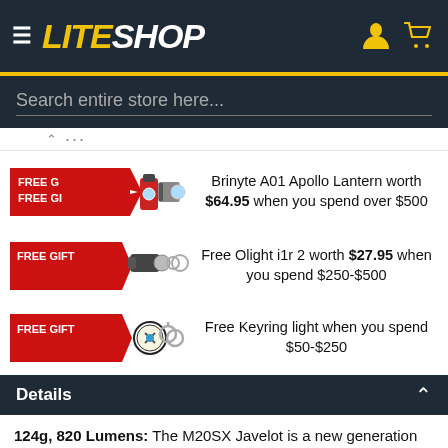LiteSHOP
Search entire store here...
[Figure (screenshot): FREE GIFT badge with Brinyte A01 Apollo Lantern product image]
Brinyte A01 Apollo Lantern worth $64.95 when you spend over $500
[Figure (screenshot): FREE GIFT badge with Olight i1r 2 product image]
Free Olight i1r 2 worth $27.95 when you spend $250-$500
[Figure (screenshot): FREE GIFT badge with Keyring light product image]
Free Keyring light when you spend $50-$250
Details
124g, 820 Lumens: The M20SX Javelot is a new generation two-tail-switch tactical LED torch from Olight. It features a customised do-domed CREE XM-L2 LED which improves the